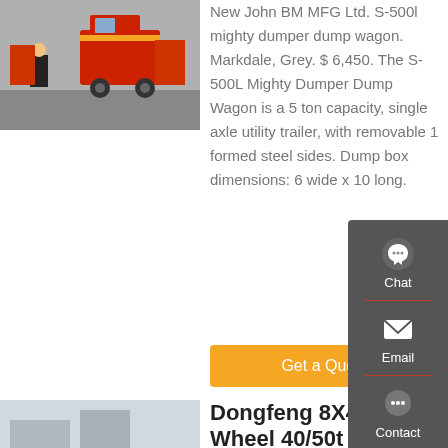[Figure (photo): Photo of a dump wagon/utility trailer with yellow and black equipment in background]
New John BM MFG Ltd. S-500l mighty dumper dump wagon. Markdale, Grey. $ 6,450. The S-500L Mighty Dumper Dump Wagon is a 5 ton capacity, single axle utility trailer, with removable 1 formed steel sides. Dump box dimensions: 6 wide x 10 long.
Get a Quote
[Figure (photo): Photo of red Dongfeng 8X4 12-wheel dump truck parked near a building]
Dongfeng 8X4 12-Wheel 40/50t Construction Widely Used Dump